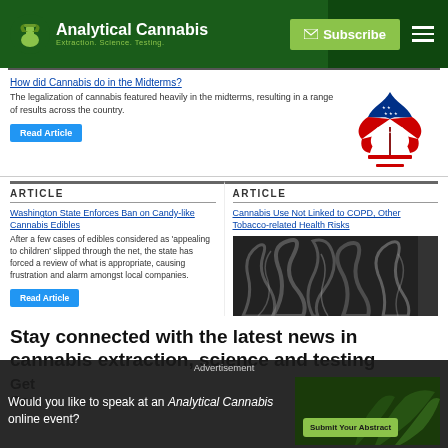Analytical Cannabis — Extraction. Science. Testing. | Subscribe
How did Cannabis do in the Midterms?
The legalization of cannabis featured heavily in the midterms, resulting in a range of results across the country.
Read Article
[Figure (illustration): American flag cannabis leaf illustration — cannabis leaf shaped like a marijuana leaf colored with US flag stars and stripes pattern]
ARTICLE
Washington State Enforces Ban on Candy-like Cannabis Edibles
After a few cases of edibles considered as 'appealing to children' slipped through the net, the state has forced a review of what is appropriate, causing frustration and alarm amongst local companies.
Read Article
ARTICLE
Cannabis Use Not Linked to COPD, Other Tobacco-related Health Risks
[Figure (photo): Black and white photo of smoke/vapor swirling patterns]
Stay connected with the latest news in cannabis extraction, science and testing
Get
Can
Advertisement
Would you like to speak at an Analytical Cannabis online event?
Submit Your Abstract